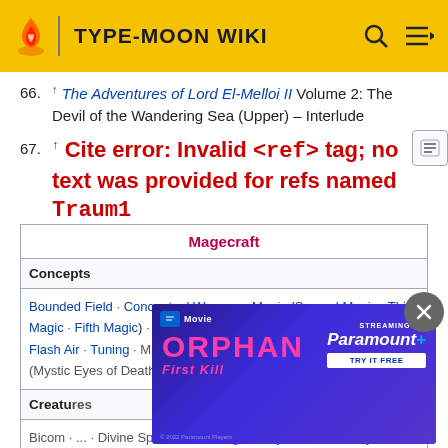TYPE-MOON WIKI
66. ↑ The Adventures of Lord El-Melloi II Volume 2: The Devil of the Wandering Sea (Upper) – Interlude
67. ↑ Cite error: Invalid <ref> tag; no text was provided for refs named Traum1
| Magecraft |
| --- |
| Concepts |
| Bounded Field · Conceptual Weapon · Magic (Second Magic · Third Magic · Fifth Magic) · Magical Spells (Astromancy · Gradation Air · Flash Air · Tuning) · Marble Phantasm · Mystic Code · Mystic Eyes (Mystic Eyes of Death Perception... |
| Creatures |
| Bicom · ... · Divine Spirit · Doll · Dragon · D'yavol Iron · Fairy · Familiar · Gazer · Giant · Golem · |
[Figure (screenshot): Advertisement for 'Orphan: First Kill' streaming on Paramount+ - Try It Free. Movie advertisement overlay on the page.]